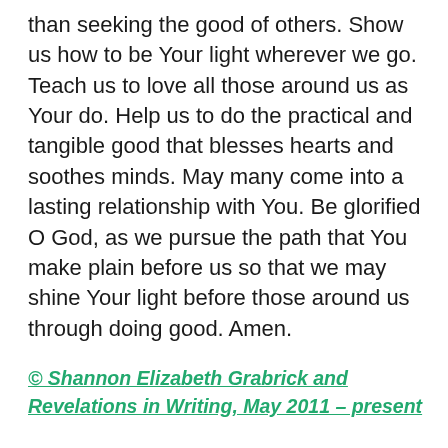than seeking the good of others. Show us how to be Your light wherever we go. Teach us to love all those around us as Your do. Help us to do the practical and tangible good that blesses hearts and soothes minds. May many come into a lasting relationship with You. Be glorified O God, as we pursue the path that You make plain before us so that we may shine Your light before those around us through doing good. Amen.
© Shannon Elizabeth Grabrick and Revelations in Writing, May 2011 – present